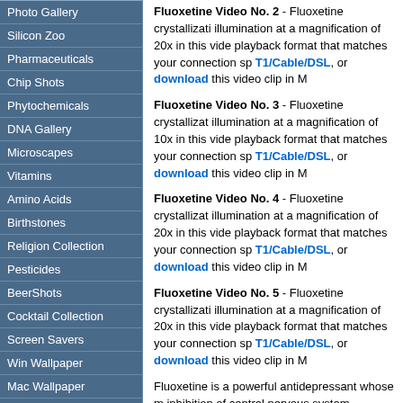Photo Gallery
Silicon Zoo
Pharmaceuticals
Chip Shots
Phytochemicals
DNA Gallery
Microscapes
Vitamins
Amino Acids
Birthstones
Religion Collection
Pesticides
BeerShots
Cocktail Collection
Screen Savers
Win Wallpaper
Mac Wallpaper
Movie Gallery
Fluoxetine Video No. 2 - Fluoxetine crystallization illumination at a magnification of 20x in this video playback format that matches your connection speed: T1/Cable/DSL, or download this video clip in M
Fluoxetine Video No. 3 - Fluoxetine crystallization illumination at a magnification of 10x in this video playback format that matches your connection speed: T1/Cable/DSL, or download this video clip in M
Fluoxetine Video No. 4 - Fluoxetine crystallization illumination at a magnification of 20x in this video playback format that matches your connection speed: T1/Cable/DSL, or download this video clip in M
Fluoxetine Video No. 5 - Fluoxetine crystallization illumination at a magnification of 20x in this video playback format that matches your connection speed: T1/Cable/DSL, or download this video clip in M
Fluoxetine is a powerful antidepressant whose mechanism is based on inhibition of central nervous system neuronal uptake of serotonin. Recently, there have been suggestions that fluoxetine may be harmful to a small number of patients, but more investigation is needed to confirm this supposition. Side effects include anxiety, insomnia...
BACK TO CHEMICALS